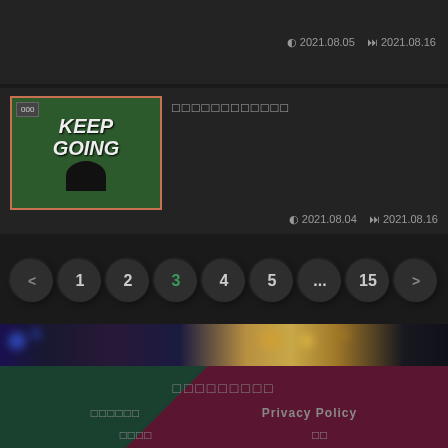[Figure (screenshot): Website listing page showing video cards with thumbnails, dates, and pagination. First card partially visible with dates 2021.08.05 and 2021.08.16. Second card shows 'KEEP GOING' chalkboard thumbnail with obscured title text, dates 2021.08.04 and 2021.08.16. Pagination shows pages < 1 2 3 4 5 ... 15 >. Bokeh background strip. Footer with diagonal green/maroon background, obscured Japanese/Korean text, Privacy Policy link, and other links.]